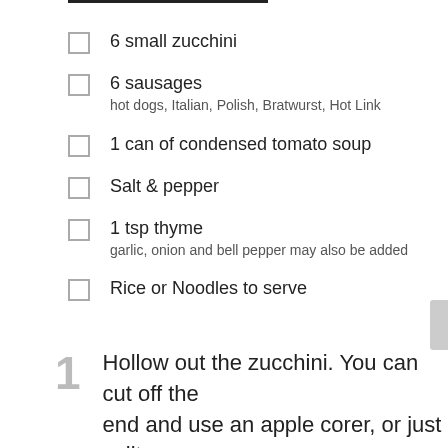6 small zucchini
6 sausages
hot dogs, Italian, Polish, Bratwurst, Hot Link
1 can of condensed tomato soup
Salt & pepper
1 tsp thyme
garlic, onion and bell pepper may also be added
Rice or Noodles to serve
1  Hollow out the zucchini. You can cut off the end and use an apple corer, or just split